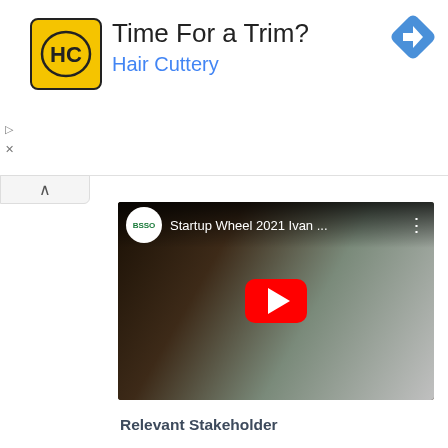[Figure (screenshot): Hair Cuttery advertisement banner with yellow HC logo, 'Time For a Trim?' heading, 'Hair Cuttery' in blue, and a blue navigation/direction icon]
[Figure (screenshot): YouTube video thumbnail showing 'Startup Wheel 2021 Ivan ...' with BSSO logo, play button, and food-related video scene]
Relevant Stakeholder
Accelerator
Incubator
Investor
Mentor